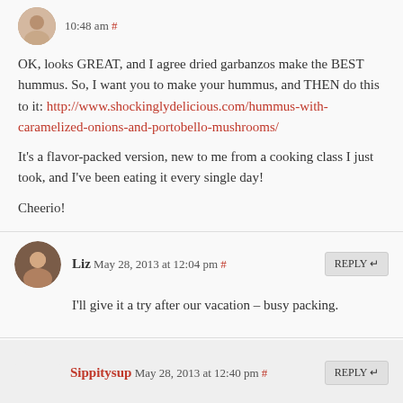10:48 am #
OK, looks GREAT, and I agree dried garbanzos make the BEST hummus. So, I want you to make your hummus, and THEN do this to it: http://www.shockinglydelicious.com/hummus-with-caramelized-onions-and-portobello-mushrooms/
It's a flavor-packed version, new to me from a cooking class I just took, and I've been eating it every single day!
Cheerio!
Liz May 28, 2013 at 12:04 pm #
I'll give it a try after our vacation – busy packing.
Sippitysup May 28, 2013 at 12:40 pm #
I do think there is a difference between dried and